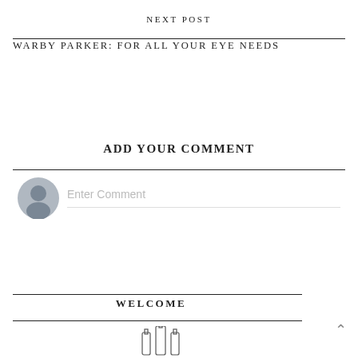NEXT POST
WARBY PARKER: FOR ALL YOUR EYE NEEDS
ADD YOUR COMMENT
Enter Comment
WELCOME
[Figure (illustration): Bottle/glasses icon illustration at bottom center of page]